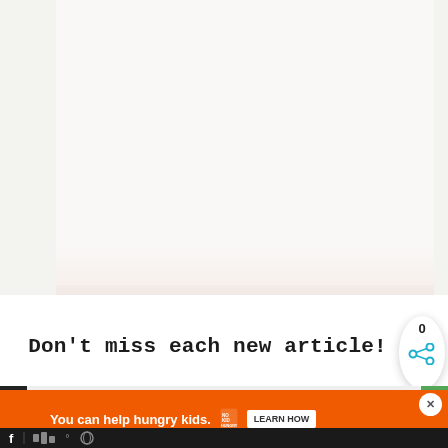[Figure (screenshot): Large white/light gray content area at the top portion of the page, appearing to be the top of a website article page with a faint pinkish gradient at the bottom edge.]
Don't miss each new article!
[Figure (infographic): Share badge circle showing '0' count and a share icon (three dots connected), positioned at right side.]
Email Address *
[Figure (screenshot): Orange advertisement banner at the bottom reading 'You can help hungry kids.' with No Kid Hungry logo and 'LEARN HOW' button. A close (X) button in white circle. Bottom dark bar with social media icons.]